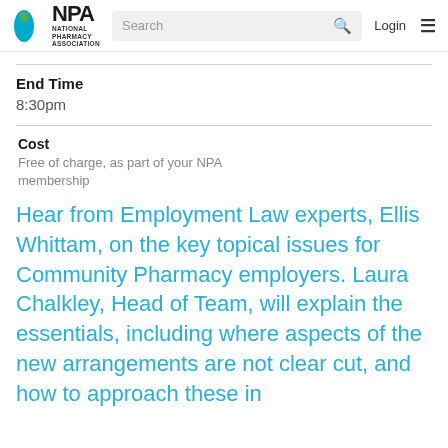NPA National Pharmacy Association | Search | Login
End Time
8:30pm
Cost
Free of charge, as part of your NPA membership
Hear from Employment Law experts, Ellis Whittam, on the key topical issues for Community Pharmacy employers. Laura Chalkley, Head of Team, will explain the essentials, including where aspects of the new arrangements are not clear cut, and how to approach these in